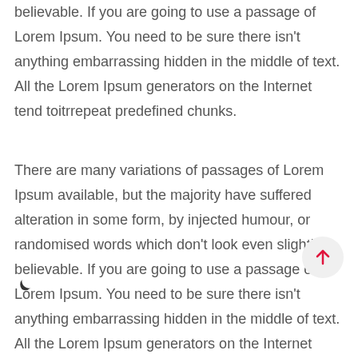believable. If you are going to use a passage of Lorem Ipsum. You need to be sure there isn't anything embarrassing hidden in the middle of text. All the Lorem Ipsum generators on the Internet tend toitrrepeat predefined chunks.
There are many variations of passages of Lorem Ipsum available, but the majority have suffered alteration in some form, by injected humour, or randomised words which don't look even slightly believable. If you are going to use a passage of Lorem Ipsum. You need to be sure there isn't anything embarrassing hidden in the middle of text. All the Lorem Ipsum generators on the Internet tend toitrrepeat predefined chunks.